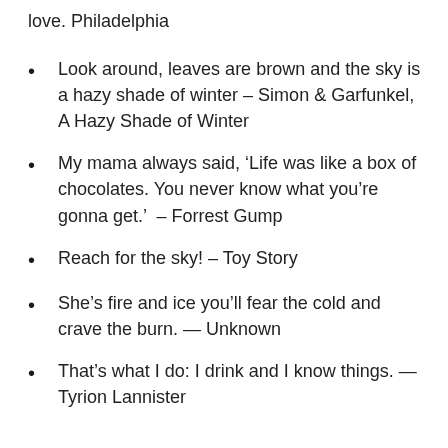love. Philadelphia
Look around, leaves are brown and the sky is a hazy shade of winter – Simon & Garfunkel, A Hazy Shade of Winter
My mama always said, ‘Life was like a box of chocolates. You never know what you’re gonna get.’  – Forrest Gump
Reach for the sky! – Toy Story
She’s fire and ice you’ll fear the cold and crave the burn. — Unknown
That’s what I do: I drink and I know things. — Tyrion Lannister